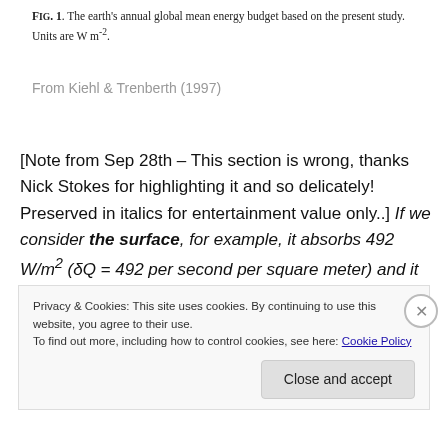FIG. 1. The earth's annual global mean energy budget based on the present study. Units are W m⁻².
From Kiehl & Trenberth (1997)
[Note from Sep 28th – This section is wrong, thanks Nick Stokes for highlighting it and so delicately! Preserved in italics for entertainment value only..] If we consider the surface, for example, it absorbs 492 W/m² (δQ = 492 per second per square meter) and it loses 492 W/m² (δQ = -492 per second per square meter).
Privacy & Cookies: This site uses cookies. By continuing to use this website, you agree to their use. To find out more, including how to control cookies, see here: Cookie Policy
Close and accept